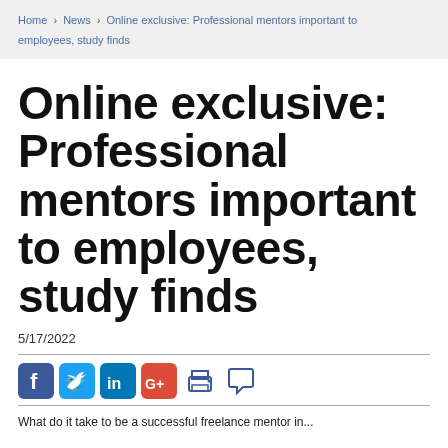Home > News > Online exclusive: Professional mentors important to employees, study finds
Online exclusive: Professional mentors important to employees, study finds
5/17/2022
[Figure (other): Social media sharing icons: Facebook, Twitter, LinkedIn, Google+, Print, Comment]
What do it take to be a successful freelance mentor in...